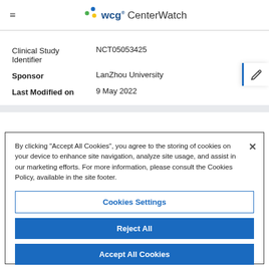WCG CenterWatch
| Field | Value |
| --- | --- |
| Clinical Study Identifier | NCT05053425 |
| Sponsor | LanZhou University |
| Last Modified on | 9 May 2022 |
By clicking "Accept All Cookies", you agree to the storing of cookies on your device to enhance site navigation, analyze site usage, and assist in our marketing efforts. For more information, please consult the Cookies Policy, available in the site footer.
Cookies Settings
Reject All
Accept All Cookies